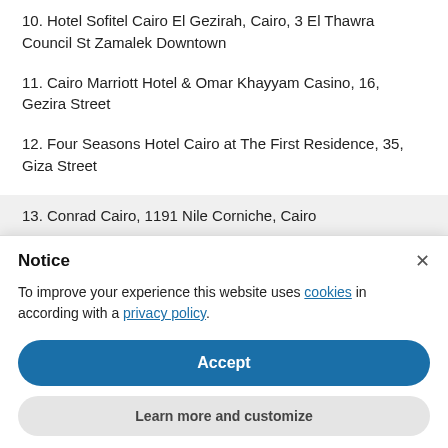10. Hotel Sofitel Cairo El Gezirah, Cairo, 3 El Thawra Council St Zamalek Downtown
11. Cairo Marriott Hotel & Omar Khayyam Casino, 16, Gezira Street
12. Four Seasons Hotel Cairo at The First Residence, 35, Giza Street
13. Conrad Cairo, 1191 Nile Corniche, Cairo
Notice
To improve your experience this website uses cookies in according with a privacy policy.
Accept
Learn more and customize